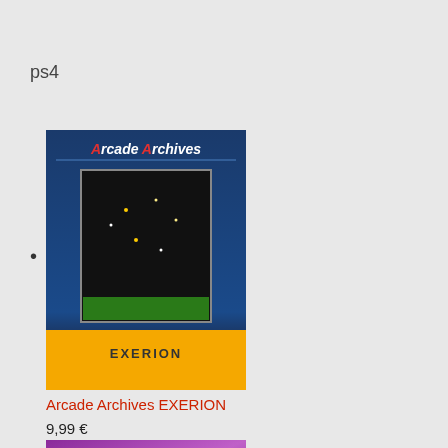ps4
[Figure (screenshot): Arcade Archives EXERION game cover art showing dark blue background with game title at top and EXERION label on golden banner at bottom]
Arcade Archives EXERION
9,99 €
[Figure (screenshot): Hatoful Boyfriend game cover art showing purple background with pigeon characters and decorative text]